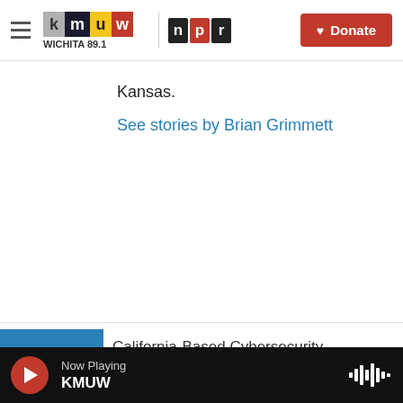KMUW Wichita 89.1 | NPR | Donate
Kansas.
See stories by Brian Grimmett
[Figure (other): Blue image placeholder for California-Based Cybersecurity article]
California-Based Cybersecurity
Now Playing KMUW